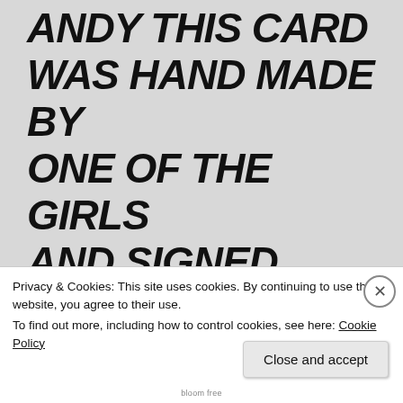[Figure (photo): Photo of a handwritten note on light gray/white background. The handwriting reads: ANDY THIS CARD WAS HAND MADE BY ONE OF THE GIRLS AND SIGNED WHEN I WAS FINALY RELEASED I HAVE A COUPLE MORE BUT THAT ONE WAS (text cut off at bottom)]
Privacy & Cookies: This site uses cookies. By continuing to use this website, you agree to their use.
To find out more, including how to control cookies, see here: Cookie Policy
Close and accept